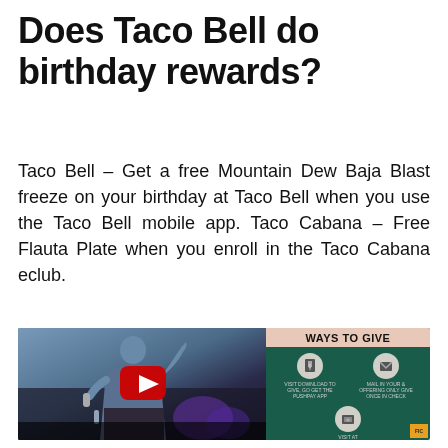Does Taco Bell do birthday rewards?
Taco Bell – Get a free Mountain Dew Baja Blast freeze on your birthday at Taco Bell when you use the Taco Bell mobile app. Taco Cabana – Free Flauta Plate when you enroll in the Taco Cabana eclub.
[Figure (photo): Composite image: left side shows a YouTube video thumbnail of a man speaking at a podium with a microphone, with a red YouTube play button overlay; right side shows a dark green infographic panel titled 'WAYS TO GIVE' with icons for giving options.]